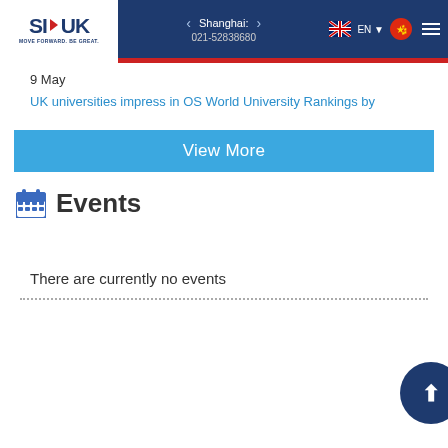SI-UK | MOVE FORWARD. BE GREAT. | Shanghai: 021-52838680 | EN
9 May
UK universities impress in OS World University Rankings by
View More
Events
There are currently no events